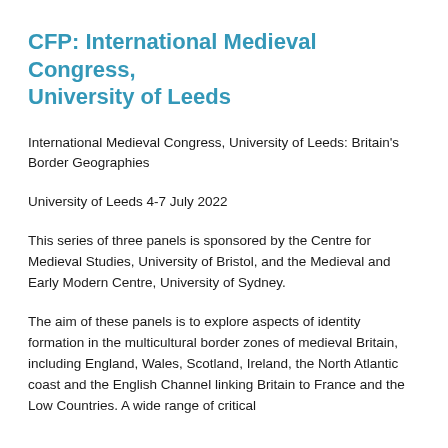CFP: International Medieval Congress, University of Leeds
International Medieval Congress, University of Leeds: Britain's Border Geographies
University of Leeds 4-7 July 2022
This series of three panels is sponsored by the Centre for Medieval Studies, University of Bristol, and the Medieval and Early Modern Centre, University of Sydney.
The aim of these panels is to explore aspects of identity formation in the multicultural border zones of medieval Britain, including England, Wales, Scotland, Ireland, the North Atlantic coast and the English Channel linking Britain to France and the Low Countries. A wide range of critical